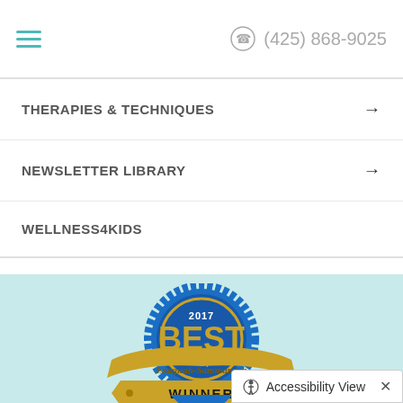(425) 868-9025
THERAPIES & TECHNIQUES
NEWSLETTER LIBRARY
WELLNESS4KIDS
[Figure (illustration): 2017 Best of Issaquah-Sammamish Winner badge/ribbon award seal in blue and gold colors]